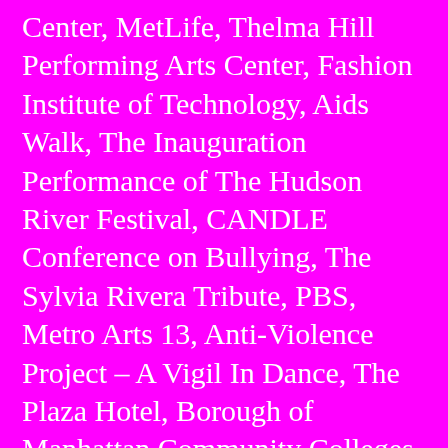Center, MetLife, Thelma Hill Performing Arts Center, Fashion Institute of Technology, Aids Walk, The Inauguration Performance of The Hudson River Festival, CANDLE Conference on Bullying, The Sylvia Rivera Tribute, PBS, Metro Arts 13, Anti-Violence Project – A Vigil In Dance, The Plaza Hotel, Borough of Manhattan Community Colleges, The Museum Mile Festival, Coler – Goldwater Hospitals, Harlem Hospital, Jewish Home for the Elderly, The French House at the University of Wisconsin, Lawrence University, The Mitby Theatre, Culver Academies.